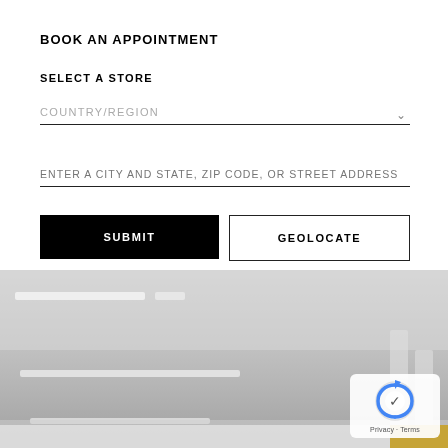BOOK AN APPOINTMENT
SELECT A STORE
COUNTRY/REGION
ENTER A CITY AND STATE, ZIP CODE, OR STREET ADDRESS
SUBMIT
GEOLOCATE
[Figure (photo): Interior photo of a retail store showing white ceiling with recessed lighting strips and light-colored display surfaces]
Privacy · Terms